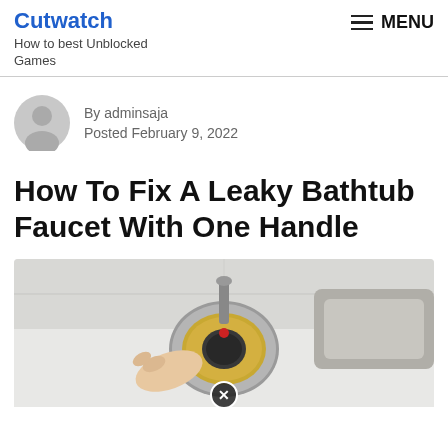Cutwatch
How to best Unblocked Games
By adminsaja
Posted February 9, 2022
How To Fix A Leaky Bathtub Faucet With One Handle
[Figure (photo): Close-up photo of hands working on a bathtub faucet cartridge with a wrench, showing the internal brass and chrome components of a single-handle faucet with a red indicator dot, against a white tile background. A close (X) button overlay appears at the bottom center.]